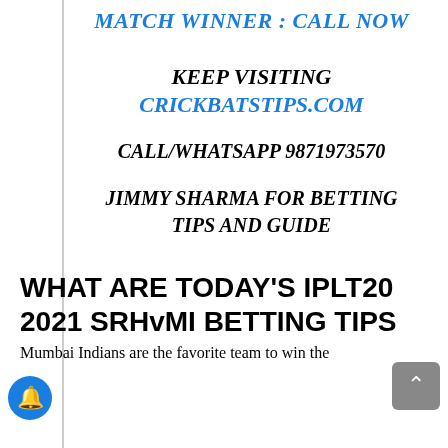MATCH WINNER : CALL NOW
KEEP VISITING
CRICKBATSTIPS.COM
CALL/WHATSAPP 9871973570
JIMMY SHARMA FOR BETTING TIPS AND GUIDE
WHAT ARE TODAY'S IPLT20 2021 SRHvMI BETTING TIPS
Mumbai Indians are the favorite team to win the